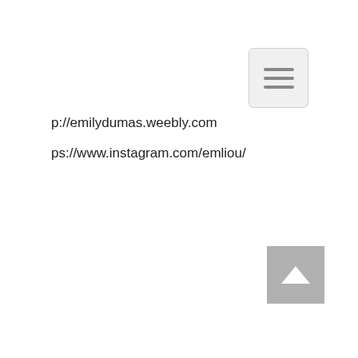[Figure (other): Hamburger menu button icon with three horizontal lines on a light gray rounded rectangle background]
p://emilydumas.weebly.com
ps://www.instagram.com/emliou/
[Figure (other): Back to top button with upward chevron arrow on gray square background]